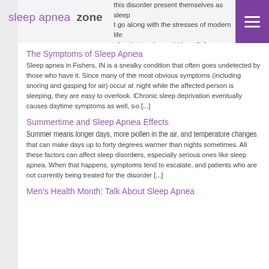sleep apnea zone
this disorder present themselves as sleep t go along with the stresses of modern life of patients who could benefit from treatment [...]
The Symptoms of Sleep Apnea
Sleep apnea in Fishers, IN is a sneaky condition that often goes undetected by those who have it. Since many of the most obvious symptoms (including snoring and gasping for air) occur at night while the affected person is sleeping, they are easy to overlook. Chronic sleep deprivation eventually causes daytime symptoms as well, so [...]
Summertime and Sleep Apnea Effects
Summer means longer days, more pollen in the air, and temperature changes that can make days up to forty degrees warmer than nights sometimes. All these factors can affect sleep disorders, especially serious ones like sleep apnea. When that happens, symptoms tend to escalate, and patients who are not currently being treated for the disorder [...]
Men's Health Month: Talk About Sleep Apnea